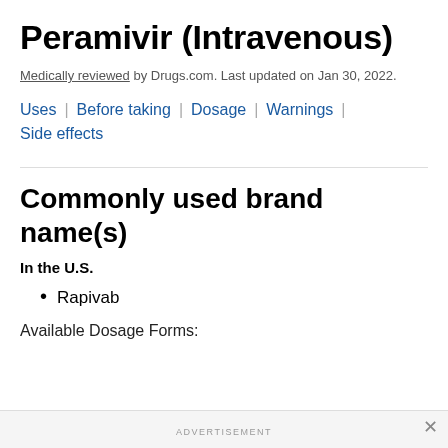Peramivir (Intravenous)
Medically reviewed by Drugs.com. Last updated on Jan 30, 2022.
Uses | Before taking | Dosage | Warnings | Side effects
Commonly used brand name(s)
In the U.S.
Rapivab
Available Dosage Forms:
ADVERTISEMENT